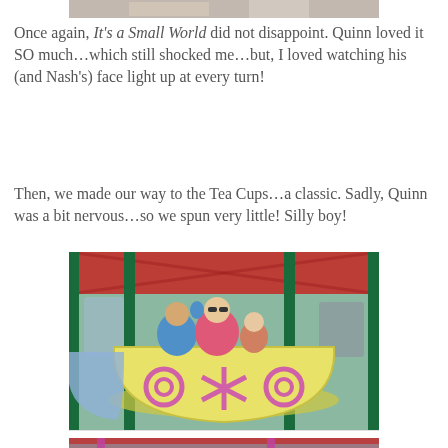[Figure (photo): Partial photo visible at top of page, cropped — appears to be people at a Disney attraction]
Once again, It's a Small World did not disappoint. Quinn loved it SO much…which still shocked me…but, I loved watching his (and Nash's) face light up at every turn!
Then, we made our way to the Tea Cups…a classic. Sadly, Quinn was a bit nervous…so we spun very little! Silly boy!
[Figure (photo): Family riding the Tea Cups attraction at Disney — a woman in sunglasses waving, a child, seated inside a large yellow tea cup with pink decorative designs. Green columns and red roof structure visible in background.]
[Figure (photo): Another view of the Tea Cups ride at Disney — pink and teal color scheme, guests seated in tea cups visible, outdoor amusement ride setting]